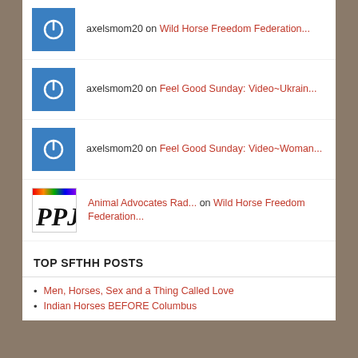axelsmom20 on Wild Horse Freedom Federation...
axelsmom20 on Feel Good Sunday: Video~Ukrain...
axelsmom20 on Feel Good Sunday: Video~Woman...
Animal Advocates Rad... on Wild Horse Freedom Federation...
axelsmom20 on Feel Good Sunday: Video~Woman...
TOP SFTHH POSTS
Men, Horses, Sex and a Thing Called Love
Indian Horses BEFORE Columbus